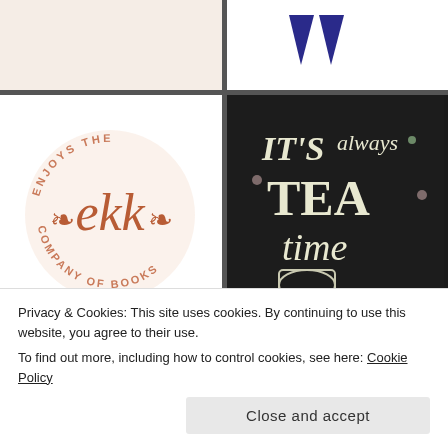[Figure (illustration): Beige/cream colored panel, top-left cell, appears to be a partial image with light peach/beige background]
[Figure (illustration): White background with two dark blue V or chevron shapes side by side]
[Figure (logo): Circular logo on white background: 'ENJOYS THE COMPANY OF BOOKS' text in salmon/coral around circle, with decorative 'ekk' monogram letters in the center in terracotta/rust color]
[Figure (illustration): Chalkboard-style illustration on dark background with 'IT'S always TEA time' lettering and drawings of tea cups, flowers, and spoons in chalk]
[Figure (photo): Photo of a young woman outdoors on green grass]
[Figure (illustration): Peach/salmon background with italic 'Hit' text in coral/salmon color and partial sketch illustration]
Privacy & Cookies: This site uses cookies. By continuing to use this website, you agree to their use.
To find out more, including how to control cookies, see here: Cookie Policy
Close and accept